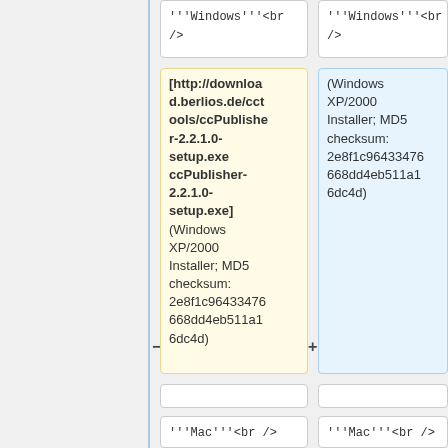'''Windows'''<br />
'''Windows'''<br />
[http://download.berlios.de/cctools/ccPublisher-2.2.1.0-setup.exe ccPublisher-2.2.1.0-setup.exe] (Windows XP/2000 Installer; MD5 checksum: 2e8f1c96433476668dd4eb511a16dc4d)
(Windows XP/2000 Installer; MD5 checksum: 2e8f1c96433476668dd4eb511a16dc4d)
'''Mac'''<br />
'''Mac'''<br />